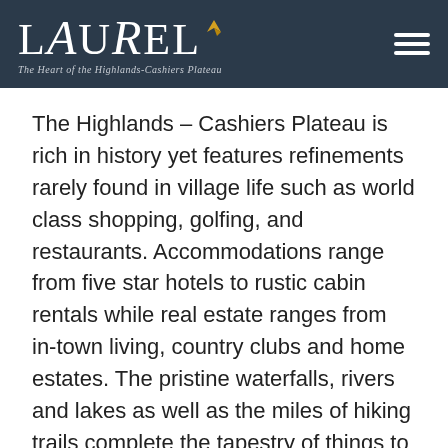LAUREL – The Heart of the Highlands-Cashiers Plateau
The Highlands – Cashiers Plateau is rich in history yet features refinements rarely found in village life such as world class shopping, golfing, and restaurants. Accommodations range from five star hotels to rustic cabin rentals while real estate ranges from in-town living, country clubs and home estates. The pristine waterfalls, rivers and lakes as well as the miles of hiking trails complete the tapestry of things to do.